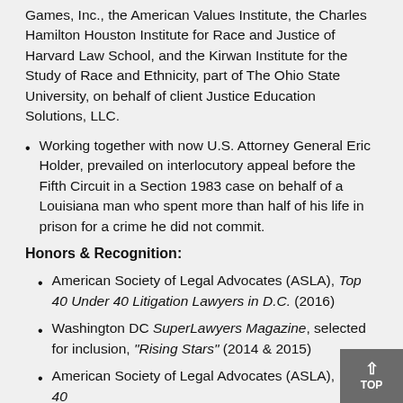Games, Inc., the American Values Institute, the Charles Hamilton Houston Institute for Race and Justice of Harvard Law School, and the Kirwan Institute for the Study of Race and Ethnicity, part of The Ohio State University, on behalf of client Justice Education Solutions, LLC.
Working together with now U.S. Attorney General Eric Holder, prevailed on interlocutory appeal before the Fifth Circuit in a Section 1983 case on behalf of a Louisiana man who spent more than half of his life in prison for a crime he did not commit.
Honors & Recognition:
American Society of Legal Advocates (ASLA), Top 40 Under 40 Litigation Lawyers in D.C. (2016)
Washington DC SuperLawyers Magazine, selected for inclusion, "Rising Stars" (2014 & 2015)
American Society of Legal Advocates (ASLA), Top 40